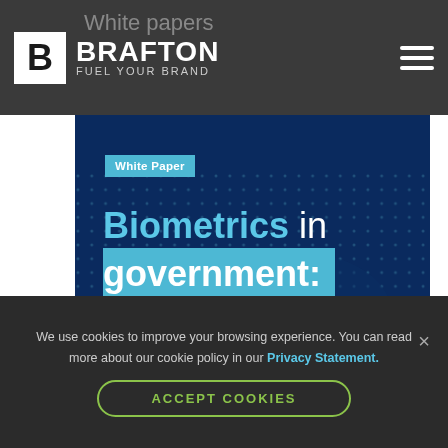White papers
[Figure (logo): Brafton logo with white B square icon and text BRAFTON / FUEL YOUR BRAND on dark grey header bar]
[Figure (screenshot): White paper cover: dark blue background with world map dots, cyan/blue badge saying 'White Paper', large title 'Biometrics in government:' with 'Biometrics' in cyan bold, 'government:' on blue highlight band, subtitle 'How cross-jurisdictional search services strengthen biometric identification']
We use cookies to improve your browsing experience. You can read more about our cookie policy in our Privacy Statement.
ACCEPT COOKIES